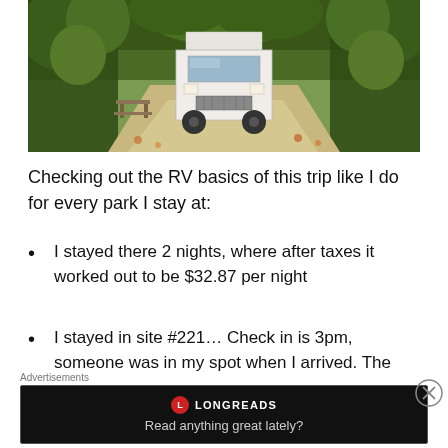[Figure (photo): An RV (motorhome) parked on a gravel path surrounded by autumn trees in a wooded campground. A picnic table is visible to the left.]
Checking out the RV basics of this trip like I do for every park I stay at:
I stayed there 2 nights, where after taxes it worked out to be $32.87 per night
I stayed in site #221… Check in is 3pm, someone was in my spot when I arrived. The
Advertisements
[Figure (screenshot): Longreads advertisement banner with dark background: logo circle with L, text LONGREADS, tagline 'Read anything great lately?']